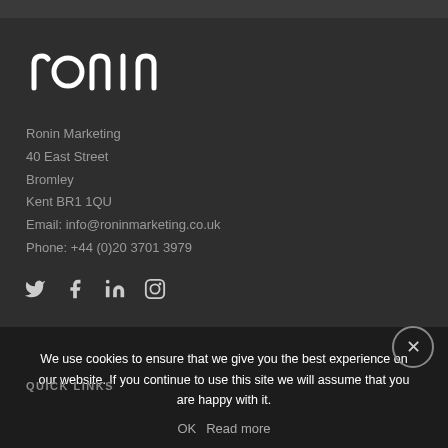[Figure (logo): Ronin logo — lowercase 'ronin' in white rounded letterforms on dark background]
Ronin Marketing
40 East Street
Bromley
Kent BR1 1QU
Email: info@roninmarketing.co.uk
Phone: +44 (0)20 3701 3979
[Figure (infographic): Social media icons: Twitter (bird), Facebook (f), LinkedIn (in), Instagram (camera/circle)]
We use cookies to ensure that we give you the best experience on our website. If you continue to use this site we will assume that you are happy with it.
OK   Read more
QUICK LINKS